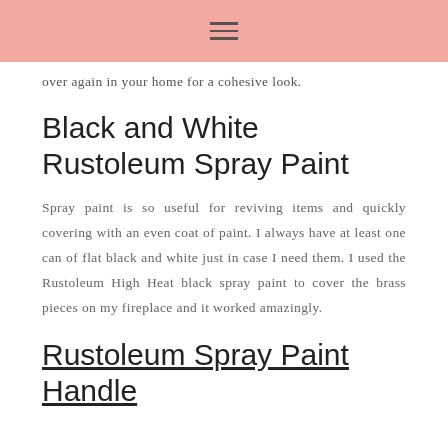≡
over again in your home for a cohesive look.
Black and White Rustoleum Spray Paint
Spray paint is so useful for reviving items and quickly covering with an even coat of paint. I always have at least one can of flat black and white just in case I need them. I used the Rustoleum High Heat black spray paint to cover the brass pieces on my fireplace and it worked amazingly.
Rustoleum Spray Paint Handle